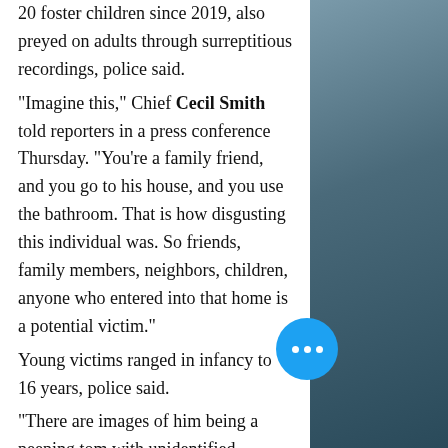20 foster children since 2019, also preyed on adults through surreptitious recordings, police said. "Imagine this," Chief Cecil Smith told reporters in a press conference Thursday. "You're a family friend, and you go to his house, and you use the bathroom. That is how disgusting this individual was. So friends, family members, neighbors, children, anyone who entered into that home is a potential victim." Young victims ranged in infancy to 16 years, police said. "There are images of him being a peeping tom with unidentified adults," Smith "At this point, we are not sure where t...
[Figure (photo): Dark stormy sky background on the right side of the page]